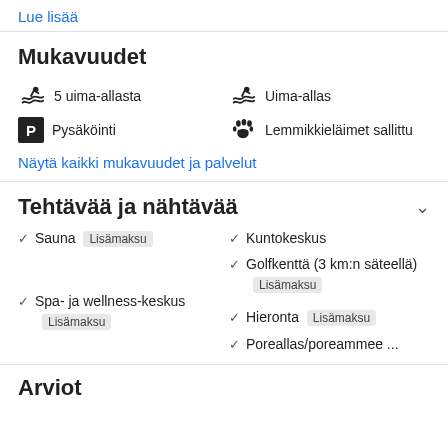Lue lisää
Mukavuudet
5 uima-allasta
Pysäköinti
Uima-allas
Lemmikkieläimet sallittu
Näytä kaikki mukavuudet ja palvelut
Tehtävää ja nähtävää
Sauna Lisämaksu
Kuntokeskus
Golfkenttä (3 km:n säteellä) Lisämaksu
Spa- ja wellness-keskus Lisämaksu
Hieronta Lisämaksu
Poreallas/poreammee ...
Arviot